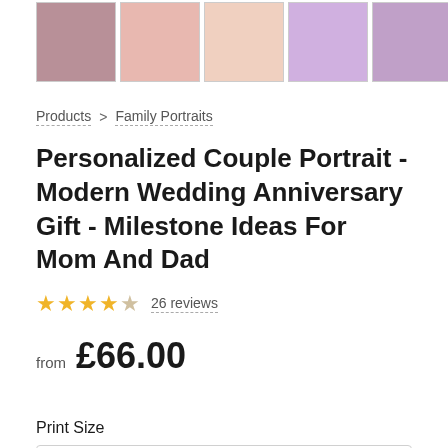[Figure (photo): Row of 5 product thumbnail images showing couple portraits and personalized gifts with pink/purple tones]
Products > Family Portraits
Personalized Couple Portrait - Modern Wedding Anniversary Gift - Milestone Ideas For Mom And Dad
★★★★★ 26 reviews
from £66.00
Print Size
5"X7" Digital File